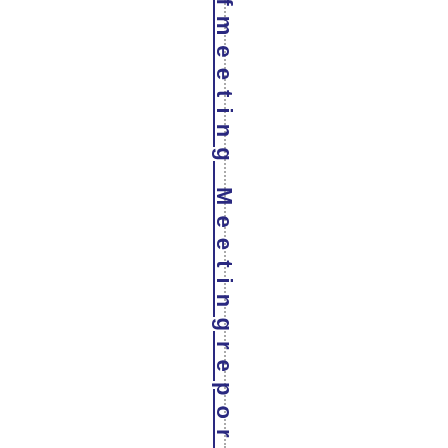d e o o f m e e t i n g   M e e t i n g r e p o r t   p o s